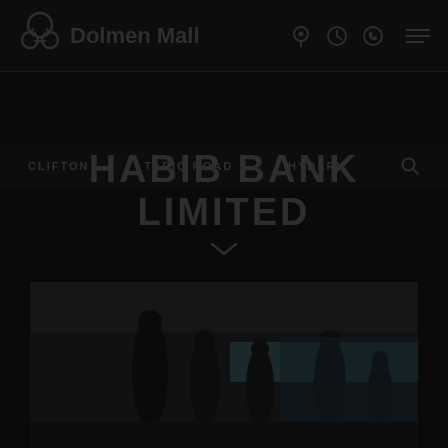[Figure (logo): Dolmen Mall logo with stylized icon and text]
CLIFTON   TARIQ ROAD   HYDERL
HABIB BANK LIMITED
[Figure (photo): Dark photograph showing silhouettes of people inside what appears to be a bank or mall branch interior]